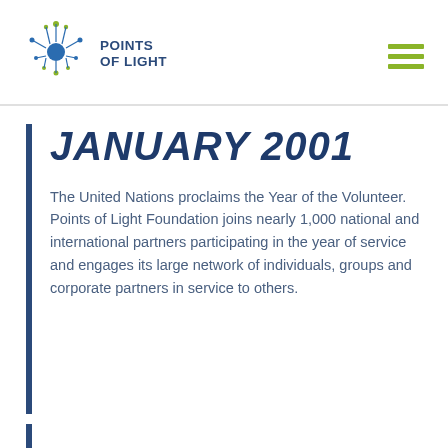[Figure (logo): Points of Light logo with star/dot graphic and bold text 'POINTS OF LIGHT']
JANUARY 2001
The United Nations proclaims the Year of the Volunteer. Points of Light Foundation joins nearly 1,000 national and international partners participating in the year of service and engages its large network of individuals, groups and corporate partners in service to others.